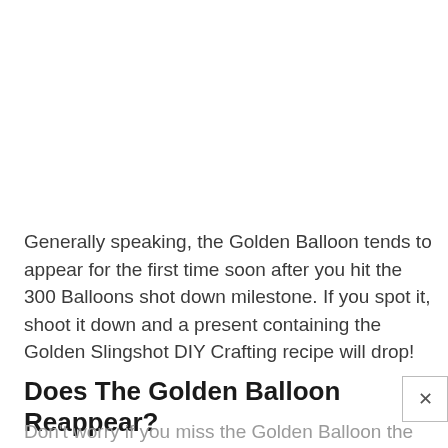Generally speaking, the Golden Balloon tends to appear for the first time soon after you hit the 300 Balloons shot down milestone. If you spot it, shoot it down and a present containing the Golden Slingshot DIY Crafting recipe will drop!
Does The Golden Balloon Reappear?
Don't worry if you miss the Golden Balloon the first time